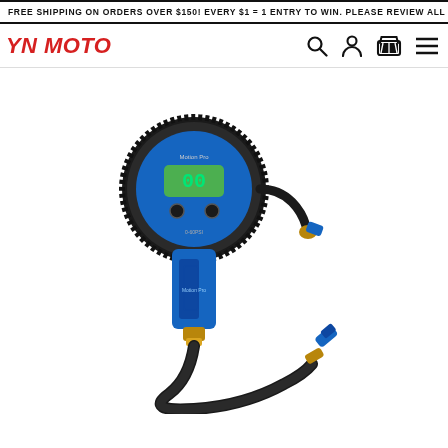FREE SHIPPING ON ORDERS OVER $150! EVERY $1 = 1 ENTRY TO WIN. PLEASE REVIEW ALL OFFICIAL RULES.
YN MOTO
[Figure (photo): A digital tire pressure gauge with a round black and blue body featuring a green LCD display showing '00', two control buttons, a blue anodized aluminum handle/grip, flexible black rubber hose, brass fittings, and a blue angled chuck valve connector.]